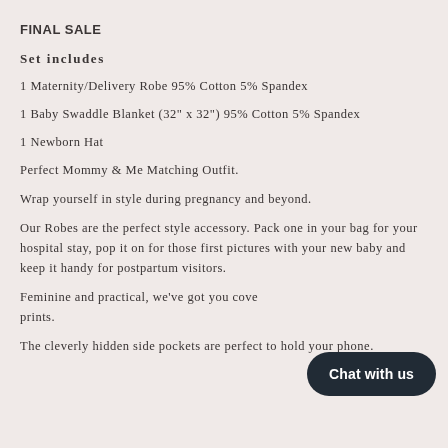FINAL SALE
Set includes
1 Maternity/Delivery Robe 95% Cotton 5% Spandex
1 Baby Swaddle Blanket (32" x 32") 95% Cotton 5% Spandex
1 Newborn Hat
Perfect Mommy & Me Matching Outfit.
Wrap yourself in style during pregnancy and beyond.
Our Robes are the perfect style accessory. Pack one in your bag for your hospital stay, pop it on for those first pictures with your new baby and keep it handy for postpartum visitors.
Feminine and practical, we've got you covered with our wide range of prints.
The cleverly hidden side pockets are perfect to hold your phone.